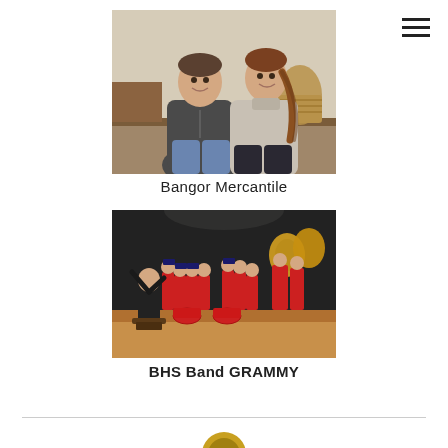[Figure (photo): Two people, a man and a woman, sitting together and smiling indoors. The man wears a dark zip-up jacket and jeans; the woman wears a light gray turtleneck sweater with a braid. A wicker basket is visible in the background.]
Bangor Mercantile
[Figure (photo): A school or concert band in red uniforms performing on a stage. A conductor in a dark suit stands on a podium with his back to the camera. Large brass instruments including tubas are visible on the right side.]
BHS Band GRAMMY
[Figure (logo): Partial circular logo/icon visible at the bottom center of the page]